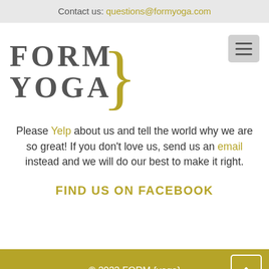Contact us: questions@formyoga.com
[Figure (logo): FORM YOGA logo with gold curly brace on the right side]
Please Yelp about us and tell the world why we are so great! If you don't love us, send us an email instead and we will do our best to make it right.
FIND US ON FACEBOOK
© 2022 FORM {yoga}